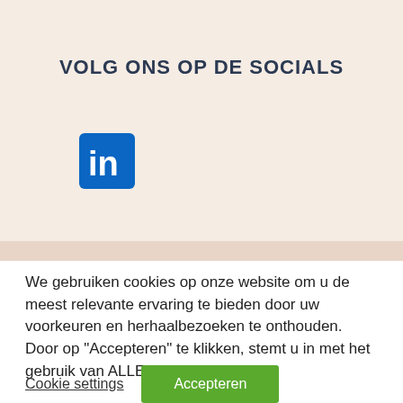VOLG ONS OP DE SOCIALS
[Figure (logo): LinkedIn logo icon — blue rounded square with white 'in' text]
We gebruiken cookies op onze website om u de meest relevante ervaring te bieden door uw voorkeuren en herhaalbezoeken te onthouden. Door op "Accepteren" te klikken, stemt u in met het gebruik van ALLE cookies.
Cookie settings
Accepteren